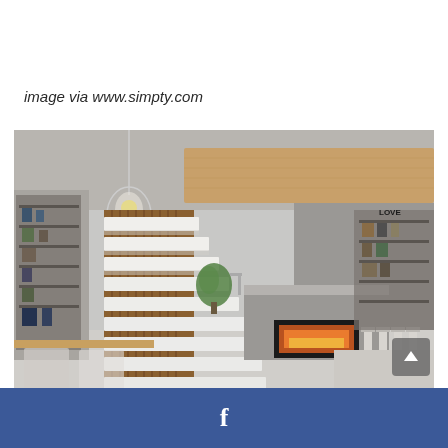image via www.simpty.com
[Figure (photo): Modern open-plan interior with floating white staircase against wood-slat wall, glass pendant light, kitchen island with fireplace below, bar stools, shelving units with decorative items, and wooden ceiling element overhead.]
f